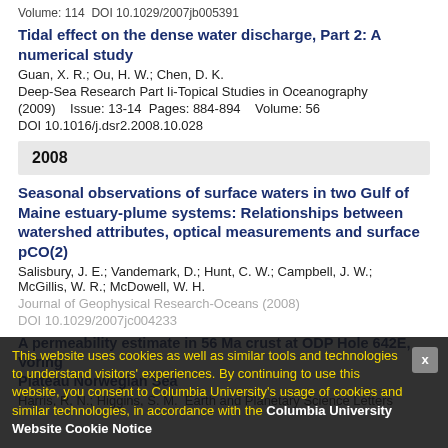Volume: 114  DOI 10.1029/2007jb005391
Tidal effect on the dense water discharge, Part 2: A numerical study
Guan, X. R.; Ou, H. W.; Chen, D. K.
Deep-Sea Research Part Ii-Topical Studies in Oceanography
(2009)    Issue: 13-14  Pages: 884-894    Volume: 56
DOI 10.1016/j.dsr2.2008.10.028
2008
Seasonal observations of surface waters in two Gulf of Maine estuary-plume systems: Relationships between watershed attributes, optical measurements and surface pCO(2)
Salisbury, J. E.; Vandemark, D.; Hunt, C. W.; Campbell, J. W.; McGillis, W. R.; McDowell, W. H.
Journal of Geophysical Research-Oceans (2008)
DOI 10.1029/2007jc004233
A permeability estimate in 56 Ma crust at ODP Hole 642E, Voring Plateau Norwegian Sea
Harris, R. N.; Higgins, S. M.  Earth and Planetary Science Letters
This website uses cookies as well as similar tools and technologies to understand visitors' experiences. By continuing to use this website, you consent to Columbia University's usage of cookies and similar technologies, in accordance with the Columbia University Website Cookie Notice